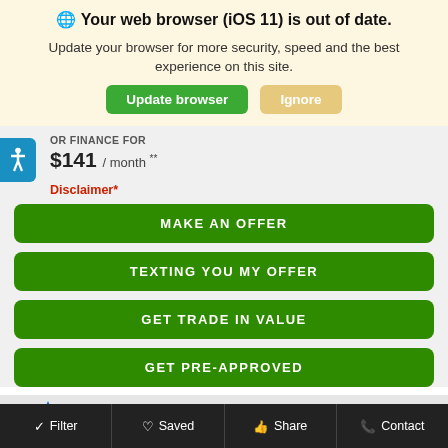🌐 Your web browser (iOS 11) is out of date.
Update your browser for more security, speed and the best experience on this site.
Update browser | Ignore
OR FINANCE FOR
$141 / month **
Disclaimer*
MAKE AN OFFER
TEXTING YOU MY OFFER
GET TRADE IN VALUE
GET PRE-APPROVED
[Figure (logo): FREE starburst badge logo]
[Figure (logo): Kendall Auto logo with checkmark]
Filter  Saved  Share  Contact